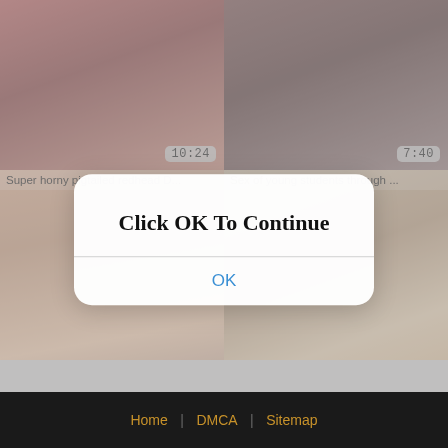[Figure (screenshot): Video thumbnail top-left with duration 10:24, reddish/dark tones]
[Figure (screenshot): Video thumbnail top-right with duration 7:40, dark tones]
Super horny pigtailed redhead D...
[Figure (screenshot): Video thumbnail bottom-left with duration 7:00, warm skin tones]
Sex of young students through ...
[Figure (screenshot): Video thumbnail bottom-right with duration 14:28, warm tones]
Click OK To Continue
OK
Home | DMCA | Sitemap